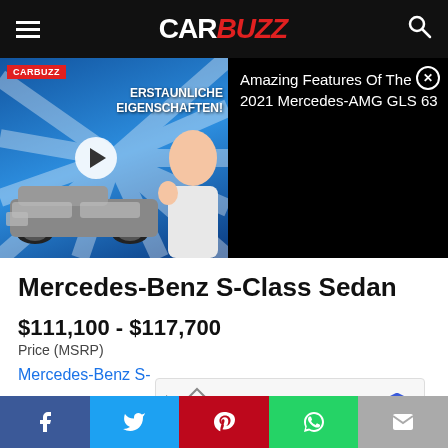CarBuzz
[Figure (screenshot): Video thumbnail for Amazing Features Of The 2021 Mercedes-AMG GLS 63, showing a Mercedes SUV on a blue sunray background with CARBUZZ branding and German text ERSTAUNLICHE EIGENSCHAFTEN!]
Amazing Features Of The 2021 Mercedes-AMG GLS 63
Mercedes-Benz S-Class Sedan
$111,100 - $117,700
Price (MSRP)
Mercedes-Benz S-
[Figure (screenshot): Advertisement banner for Topgolf showing Dine-in checkmark and Delivery X icons with a blue diamond navigation arrow icon]
Social share buttons: Facebook, Twitter, Pinterest, WhatsApp, Email